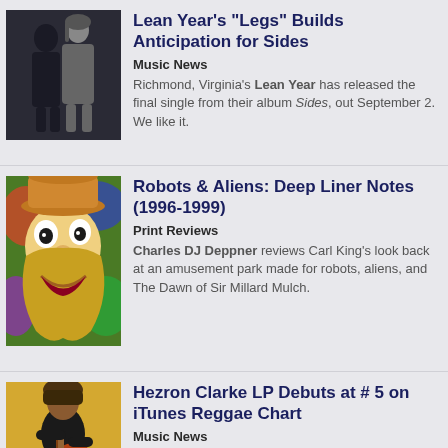Lean Year's “Legs” Builds Anticipation for Sides
Music News
Richmond, Virginia’s Lean Year has released the final single from their album Sides, out September 2. We like it.
Robots & Aliens: Deep Liner Notes (1996-1999)
Print Reviews
Charles DJ Deppner reviews Carl King’s look back at an amusement park made for robots, aliens, and The Dawn of Sir Millard Mulch.
Hezron Clarke LP Debuts at # 5 on iTunes Reggae Chart
Music News
MOAM (Man on a Mission), the new album